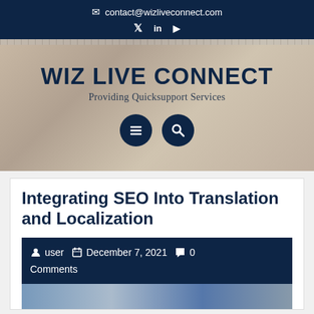contact@wizliveconnect.com
[Figure (other): Hero banner with WIZ LIVE CONNECT title, 'Providing Quicksupport Services' subtitle, menu and search icon buttons, over a background photo of hands]
Integrating SEO Into Translation and Localization
user   December 7, 2021   0 Comments
[Figure (photo): Bottom strip of a photo, showing sky/blue tones]